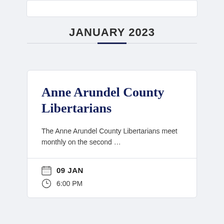JANUARY 2023
Anne Arundel County Libertarians
The Anne Arundel County Libertarians meet monthly on the second …
09 JAN
6:00 PM